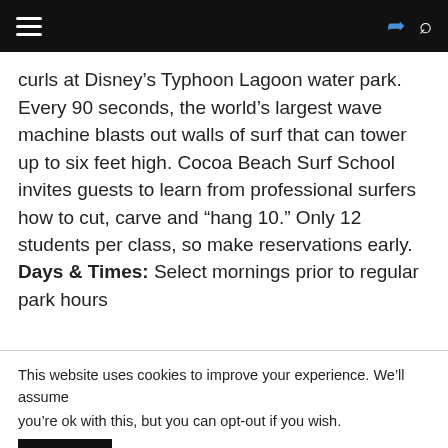[Navigation bar with hamburger menu, share icon, search icon]
curls at Disney's Typhoon Lagoon water park. Every 90 seconds, the world's largest wave machine blasts out walls of surf that can tower up to six feet high. Cocoa Beach Surf School invites guests to learn from professional surfers how to cut, carve and “hang 10.” Only 12 students per class, so make reservations early.
Days & Times: Select mornings prior to regular park hours
This website uses cookies to improve your experience. We’ll assume you're ok with this, but you can opt-out if you wish. Accept Read More